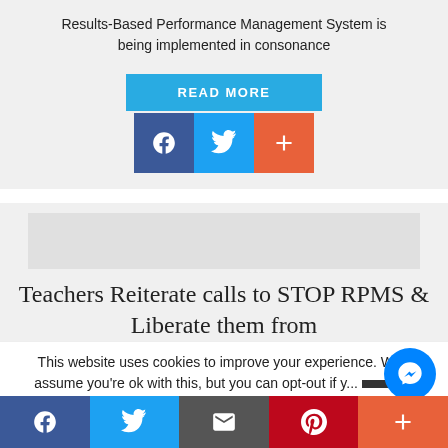Results-Based Performance Management System is being implemented in consonance
[Figure (other): READ MORE button in cyan/blue, followed by Facebook, Twitter, and Google+ share icon buttons]
[Figure (other): Gray placeholder image block for article thumbnail]
Teachers Reiterate calls to STOP RPMS & Liberate them from
This website uses cookies to improve your experience. We'll assume you're ok with this, but you can opt-out if y...
[Figure (other): Bottom social share bar with Facebook, Twitter, Email, Pinterest, and More buttons, plus Messenger chat button]